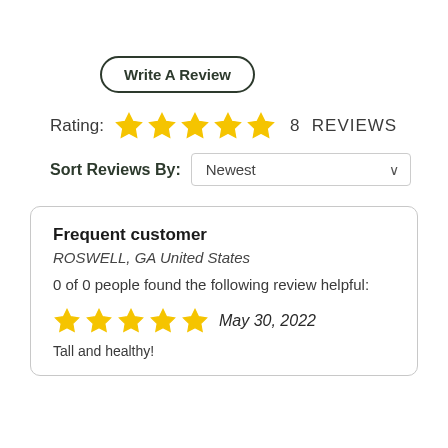Write A Review
Rating: ★★★★★ 8 REVIEWS
Sort Reviews By: Newest
Frequent customer
ROSWELL, GA United States
0 of 0 people found the following review helpful:
★★★★★ May 30, 2022
Tall and healthy!